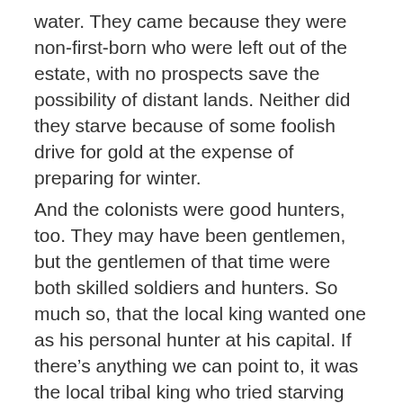water. They came because they were non-first-born who were left out of the estate, with no prospects save the possibility of distant lands. Neither did they starve because of some foolish drive for gold at the expense of preparing for winter.
And the colonists were good hunters, too. They may have been gentlemen, but the gentlemen of that time were both skilled soldiers and hunters. So much so, that the local king wanted one as his personal hunter at his capital. If there’s anything we can point to, it was the local tribal king who tried starving the colonists out by holding their stockade under siege: anyone caught going hunting outside the walls was shot.
Pocahontas, then, becomes the story of his 11 year old daughter, feeling sympathy for the plight of these newcomers. She probably went against her father’s wishes to bring them food during the winter they starved the most. And her efforts helped keep that first colony alive.
Later, she married John Rolfe, who was the first to